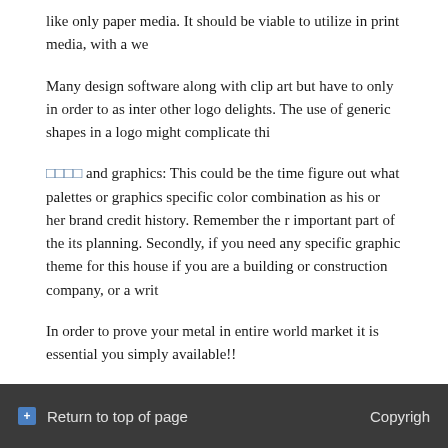like only paper media. It should be viable to utilize in print media, with a we
Many design software along with clip art but have to only in order to as inter other logo delights. The use of generic shapes in a logo might complicate thi
□□□□ and graphics: This could be the time figure out what palettes or graphics specific color combination as his or her brand credit history. Remember the r important part of the its planning. Secondly, if you need any specific graphic theme for this house if you are a building or construction company, or a writ
In order to prove your metal in entire world market it is essential you simply available!!
FILED UNDER: UNCATEGORIZED
Return to top of page  Copyright